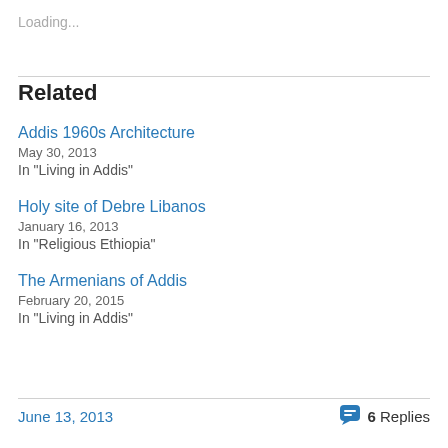Loading...
Related
Addis 1960s Architecture
May 30, 2013
In "Living in Addis"
Holy site of Debre Libanos
January 16, 2013
In "Religious Ethiopia"
The Armenians of Addis
February 20, 2015
In "Living in Addis"
June 13, 2013    6 Replies